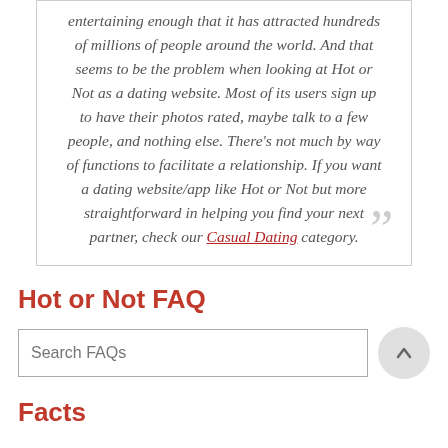entertaining enough that it has attracted hundreds of millions of people around the world. And that seems to be the problem when looking at Hot or Not as a dating website. Most of its users sign up to have their photos rated, maybe talk to a few people, and nothing else. There's not much by way of functions to facilitate a relationship. If you want a dating website/app like Hot or Not but more straightforward in helping you find your next partner, check our Casual Dating category.
Hot or Not FAQ
Search FAQs
Facts